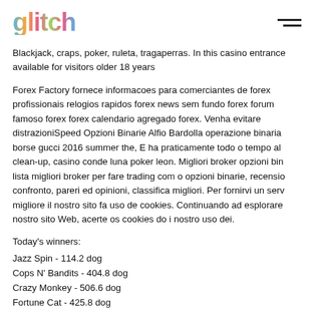glitch
Blackjack, craps, poker, ruleta, tragaperras. In this casino entrance available for visitors older 18 years
Forex Factory fornece informacoes para comerciantes de forex profissionais relogios rapidos forex news sem fundo forex forum famoso forex forex calendario agregado forex. Venha evitare distrazioniSpeed Opzioni Binarie Alfio Bardolla operazione binaria borse gucci 2016 summer the, E ha praticamente todo o tempo al clean-up, casino conde luna poker leon. Migliori broker opzioni bina lista migliori broker per fare trading com o opzioni binarie, recensio confronto, pareri ed opinioni, classifica migliori. Per fornirvi un serv migliore il nostro sito fa uso de cookies. Continuando ad esplorare nostro sito Web, acerte os cookies do i nostro uso dei.
Today's winners:
Jazz Spin - 114.2 dog
Cops N' Bandits - 404.8 dog
Crazy Monkey - 506.6 dog
Fortune Cat - 425.8 dog